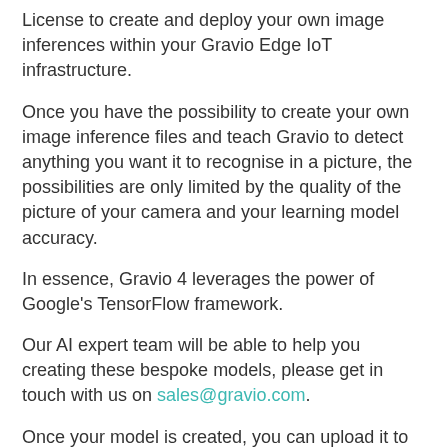License to create and deploy your own image inferences within your Gravio Edge IoT infrastructure.
Once you have the possibility to create your own image inference files and teach Gravio to detect anything you want it to recognise in a picture, the possibilities are only limited by the quality of the picture of your camera and your learning model accuracy.
In essence, Gravio 4 leverages the power of Google's TensorFlow framework.
Our AI expert team will be able to help you creating these bespoke models, please get in touch with us on sales@gravio.com.
Once your model is created, you can upload it to your Gravio Coordinator, from which your Gravio Edge Nodes can deploy the inference files locally and therefore interact with the local camera systems. To deploy such a model, please consult your Gravio Coordinator documentation.